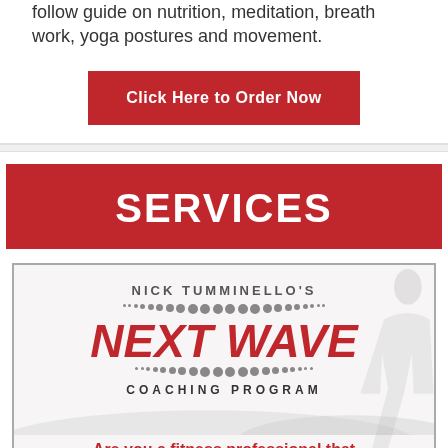follow guide on nutrition, meditation, breath work, yoga postures and movement.
Click Here to Order Now
SERVICES
[Figure (logo): Nick Tumminello's Next Wave Coaching Program logo with dotted lines above and below the red italic 'NEXT WAVE' text, a silhouette of a person on the right, and subtitle 'COACHING PROGRAM'. Bottom text: 'Are you a fitness professional that']